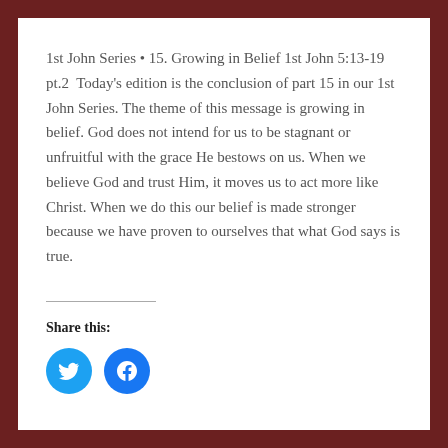1st John Series • 15. Growing in Belief 1st John 5:13-19 pt.2  Today's edition is the conclusion of part 15 in our 1st John Series. The theme of this message is growing in belief. God does not intend for us to be stagnant or unfruitful with the grace He bestows on us. When we believe God and trust Him, it moves us to act more like Christ. When we do this our belief is made stronger because we have proven to ourselves that what God says is true.
Share this: